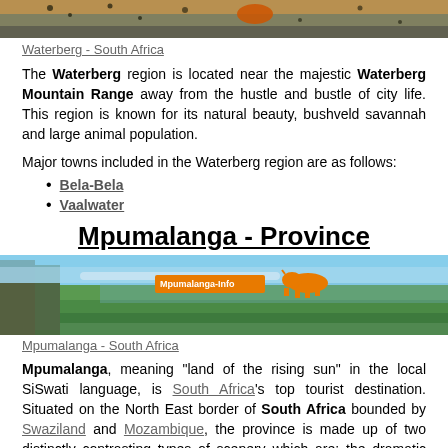[Figure (photo): Close-up photo of a leopard]
Waterberg - South Africa
The Waterberg region is located near the majestic Waterberg Mountain Range away from the hustle and bustle of city life. This region is known for its natural beauty, bushveld savannah and large animal population.
Major towns included in the Waterberg region are as follows:
Bela-Bela
Vaalwater
Mpumalanga - Province
[Figure (photo): Panoramic landscape photo of Mpumalanga with Mpumalanga-Info logo overlay]
Mpumalanga - South Africa
Mpumalanga, meaning "land of the rising sun" in the local SiSwati language, is South Africa's top tourist destination. Situated on the North East border of South Africa bounded by Swaziland and Mozambique, the province is made up of two distinctly contrasting types of scenery which are: the dramatic topography of escarpment and the bush of the